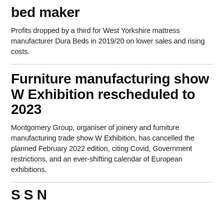bed maker
Profits dropped by a third for West Yorkshire mattress manufacturer Dura Beds in 2019/20 on lower sales and rising costs.
Furniture manufacturing show W Exhibition rescheduled to 2023
Montgomery Group, organiser of joinery and furniture manufacturing trade show W Exhibition, has cancelled the planned February 2022 edition, citing Covid, Government restrictions, and an ever-shifting calendar of European exhibitions.
S S N...